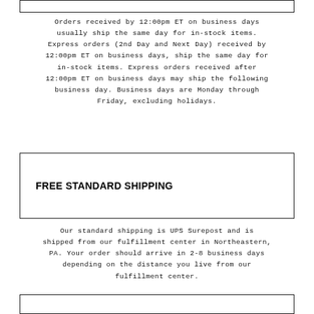Orders received by 12:00pm ET on business days usually ship the same day for in-stock items. Express orders (2nd Day and Next Day) received by 12:00pm ET on business days, ship the same day for in-stock items. Express orders received after 12:00pm ET on business days may ship the following business day. Business days are Monday through Friday, excluding holidays.
FREE STANDARD SHIPPING
Our standard shipping is UPS Surepost and is shipped from our fulfillment center in Northeastern, PA. Your order should arrive in 2-8 business days depending on the distance you live from our fulfillment center.